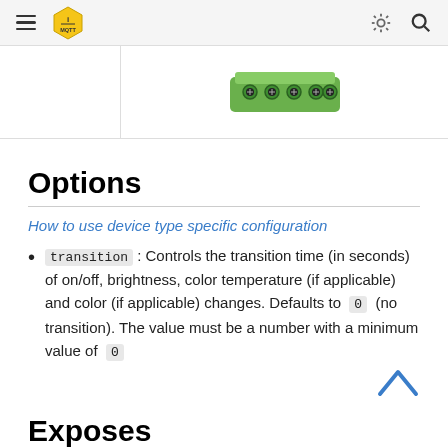MQTT navigation header
[Figure (photo): Green electronic connector/terminal block component shown from top view]
Options
How to use device type specific configuration
transition : Controls the transition time (in seconds) of on/off, brightness, color temperature (if applicable) and color (if applicable) changes. Defaults to 0 (no transition). The value must be a number with a minimum value of 0
Exposes